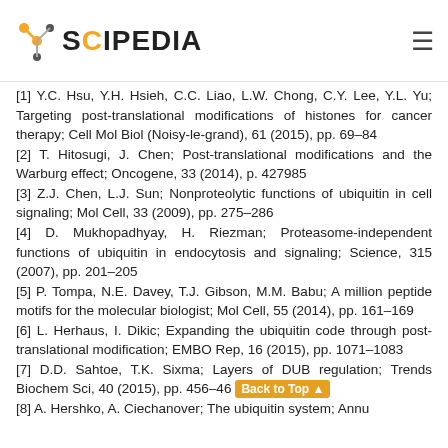SCIPEDIA
[1] Y.C. Hsu, Y.H. Hsieh, C.C. Liao, L.W. Chong, C.Y. Lee, Y.L. Yu; Targeting post-translational modifications of histones for cancer therapy; Cell Mol Biol (Noisy-le-grand), 61 (2015), pp. 69–84
[2] T. Hitosugi, J. Chen; Post-translational modifications and the Warburg effect; Oncogene, 33 (2014), p. 427985
[3] Z.J. Chen, L.J. Sun; Nonproteolytic functions of ubiquitin in cell signaling; Mol Cell, 33 (2009), pp. 275–286
[4] D. Mukhopadhyay, H. Riezman; Proteasome-independent functions of ubiquitin in endocytosis and signaling; Science, 315 (2007), pp. 201–205
[5] P. Tompa, N.E. Davey, T.J. Gibson, M.M. Babu; A million peptide motifs for the molecular biologist; Mol Cell, 55 (2014), pp. 161–169
[6] L. Herhaus, I. Dikic; Expanding the ubiquitin code through post-translational modification; EMBO Rep, 16 (2015), pp. 1071–1083
[7] D.D. Sahtoe, T.K. Sixma; Layers of DUB regulation; Trends Biochem Sci, 40 (2015), pp. 456–46…
[8] A. Hershko, A. Ciechanover; The ubiquitin system; Annu…